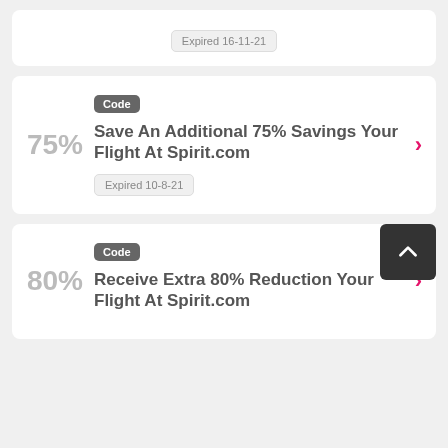Expired 16-11-21
Code
Save An Additional 75% Savings Your Flight At Spirit.com
Expired 10-8-21
Code
Receive Extra 80% Reduction Your Flight At Spirit.com